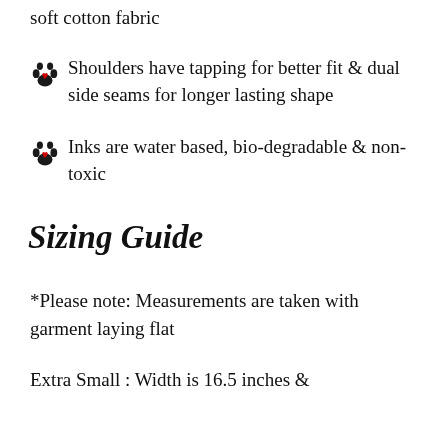soft cotton fabric
Shoulders have tapping for better fit & dual side seams for longer lasting shape
Inks are water based, bio-degradable & non-toxic
Sizing Guide
*Please note: Measurements are taken with garment laying flat
Extra Small : Width is 16.5 inches &